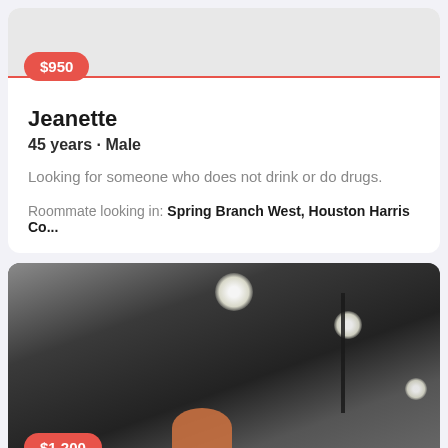[Figure (photo): Partial profile image at top of first card, light gray background]
$950
Jeanette
45 years · Male
Looking for someone who does not drink or do drugs.
Roommate looking in: Spring Branch West, Houston Harris Co...
[Figure (photo): Dark interior photo showing ceiling lights and a fence post, with a partial view of a person's head at bottom]
$1,200
Jiana
34 years · Female